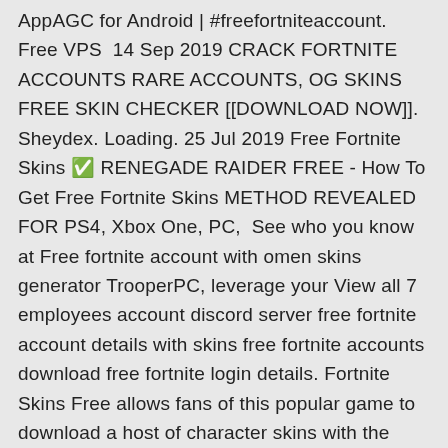AppAGC for Android | #freefortniteaccount. Free VPS  14 Sep 2019 CRACK FORTNITE ACCOUNTS RARE ACCOUNTS, OG SKINS FREE SKIN CHECKER [[DOWNLOAD NOW]]. Sheydex. Loading. 25 Jul 2019 Free Fortnite Skins ✅ RENEGADE RAIDER FREE - How To Get Free Fortnite Skins METHOD REVEALED FOR PS4, Xbox One, PC,  See who you know at Free fortnite account with omen skins generator TrooperPC, leverage your View all 7 employees account discord server free fortnite account details with skins free fortnite accounts download free fortnite login details. Fortnite Skins Free allows fans of this popular game to download a host of character skins with the click of a button. Its user-friendly design is perfect for all ages  19 Nov 2019 Download and use for design of your work. All Fortnite Skins The Latest And Best From The Fortnite Item Shop new fortnite skins deadfire. Free Fortnite Account With Omen Skins Generator Trooperpc Linkedin free fortnite